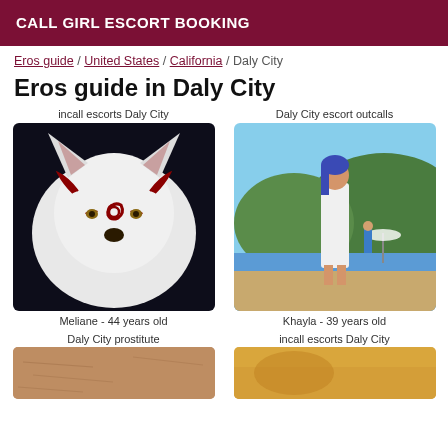CALL GIRL ESCORT BOOKING
Eros guide / United States / California / Daly City
Eros guide in Daly City
incall escorts Daly City
[Figure (illustration): Artistic illustration of a white wolf with red decorative markings, fantasy style]
Meliane - 44 years old
Daly City escort outcalls
[Figure (photo): Photo of a woman with blue hair wearing a white dress standing on a beach]
Khayla - 39 years old
Daly City prostitute
[Figure (photo): Close-up photo showing skin texture]
incall escorts Daly City
[Figure (photo): Partial photo with warm orange/yellow tones]